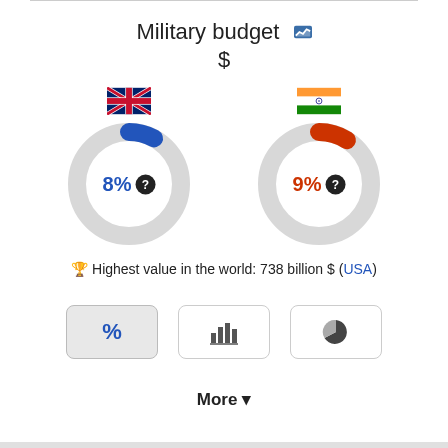Military budget $
[Figure (donut-chart): UK Military budget]
[Figure (donut-chart): India Military budget]
🏆 Highest value in the world: 738 billion $ (USA)
[Figure (infographic): Three toggle buttons: % (active/selected), bar chart icon, pie chart icon]